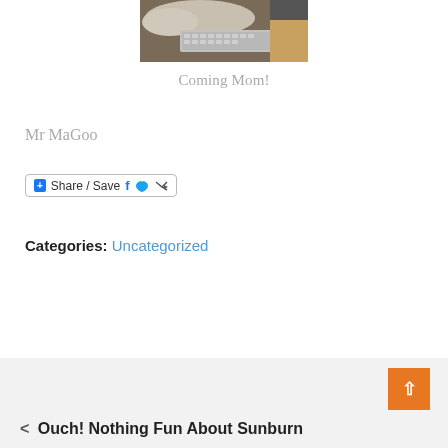[Figure (photo): Photo of a cat (fluffy, light-colored) on a desk near a keyboard and monitor, viewed from above]
Coming Mom!
Mr MaGoo
Share / Save
Categories: Uncategorized
< Ouch! Nothing Fun About Sunburn